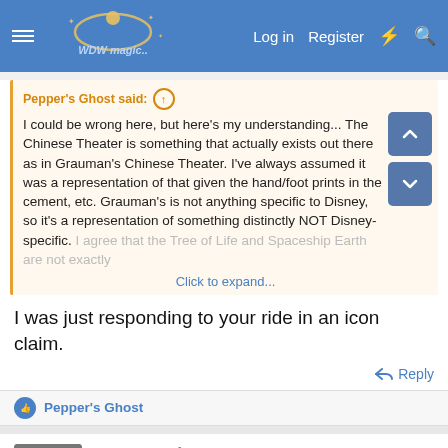WDWmagic.com — Log in  Register
Pepper's Ghost said:
I could be wrong here, but here's my understanding... The Chinese Theater is something that actually exists out there as in Grauman's Chinese Theater. I've always assumed it was a representation of that given the hand/foot prints in the cement, etc. Grauman's is not anything specific to Disney, so it's a representation of something distinctly NOT Disney-specific. I agree that the Tree of Life and Spaceship Earth are not exactly
Click to expand...
I was just responding to your ride in an icon claim.
Reply
Pepper's Ghost
Brer Penguin
Member